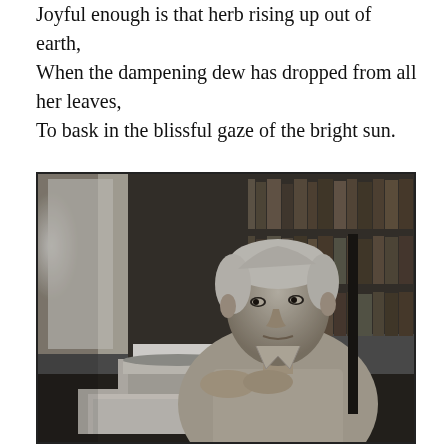Joyful enough is that herb rising up out of earth,
When the dampening dew has dropped from all her leaves,
To bask in the blissful gaze of the bright sun.
[Figure (photo): Black and white photograph of an older man with white hair sitting at a typewriter at a desk, looking at the camera. Bookshelves are visible in the background. He is wearing a light-colored shirt and appears to be in a study or office.]